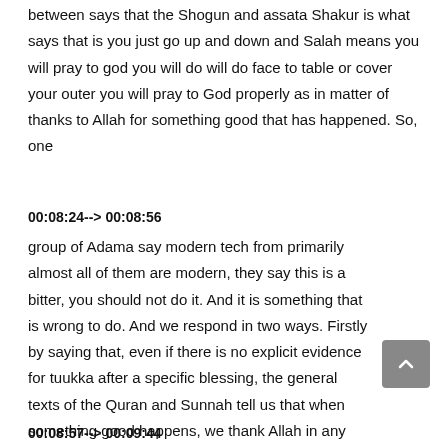between says that the Shogun and assata Shakur is what says that is you just go up and down and Salah means you will pray to god you will do will do face to table or cover your outer you will pray to God properly as in matter of thanks to Allah for something good that has happened. So, one
00:08:24--> 00:08:56
group of Adama say modern tech from primarily almost all of them are modern, they say this is a bitter, you should not do it. And it is something that is wrong to do. And we respond in two ways. Firstly by saying that, even if there is no explicit evidence for tuukka after a specific blessing, the general texts of the Quran and Sunnah tell us that when something good happens, we thank Allah in any way.
00:08:57--> 00:09:44